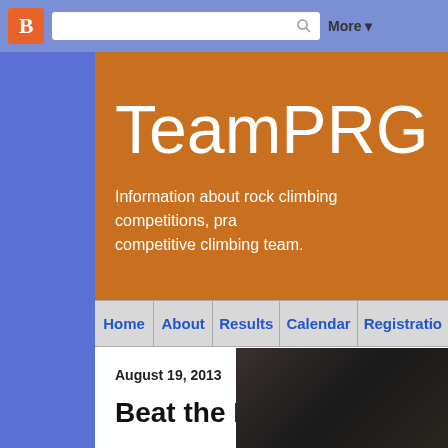[Figure (screenshot): Blogger top navigation bar with orange B icon, search box with magnifying glass, and More dropdown]
[Figure (screenshot): TeamPRG blog header banner in orange with large title text and subtitle about rock climbing competitions]
TeamPRG
Information about rock climbing competitions, pra... competitive climbing team.
Home | About | Results | Calendar | Registratio...
August 19, 2013
Beat the Heat 8 Results
[Figure (photo): Photo of rock climbers, partially visible at bottom right of page]